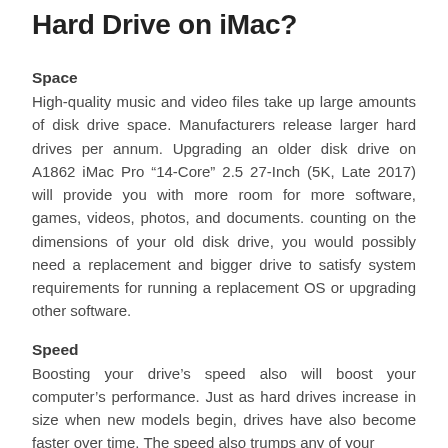Hard Drive on iMac?
Space
High-quality music and video files take up large amounts of disk drive space. Manufacturers release larger hard drives per annum. Upgrading an older disk drive on A1862 iMac Pro “14-Core” 2.5 27-Inch (5K, Late 2017) will provide you with more room for more software, games, videos, photos, and documents. counting on the dimensions of your old disk drive, you would possibly need a replacement and bigger drive to satisfy system requirements for running a replacement OS or upgrading other software.
Speed
Boosting your drive’s speed also will boost your computer’s performance. Just as hard drives increase in size when new models begin, drives have also become faster over time. The speed also trumps any of your